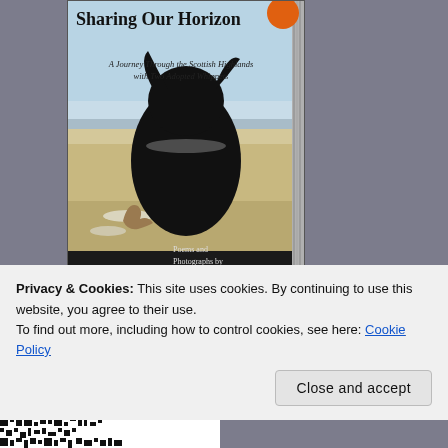[Figure (photo): Book cover of 'Sharing Our Horizon: A Journey Through the Scottish Highlands with Two Adopted Whippets' — Poems and Photographs by Xenia Tran. Cover shows a black whippet viewed from behind looking at a beach/coastal landscape, with a smaller whippet in the background. Orange badge in top right corner.]
Privacy & Cookies: This site uses cookies. By continuing to use this website, you agree to their use.
To find out more, including how to control cookies, see here: Cookie Policy
Close and accept
[Figure (other): Partial QR code visible at bottom of page]